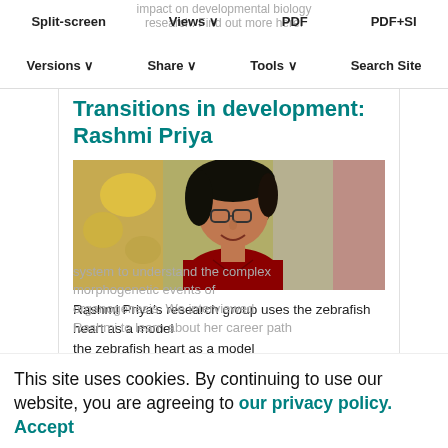Split-screen  Views  PDF  PDF+SI
Versions  Share  Tools  Search Site
Transitions in development: Rashmi Priya
[Figure (photo): Portrait photo of Rashmi Priya, a woman with short dark hair and glasses, wearing a red top, smiling, with blurred yellow and green background.]
Rashmi Priya's research group uses the zebrafish heart as a model
system to understand the complex morphogenetic events of organogenesis. We interviewed Rashmi to learn about her career path
This site uses cookies. By continuing to use our website, you are agreeing to our privacy policy. Accept